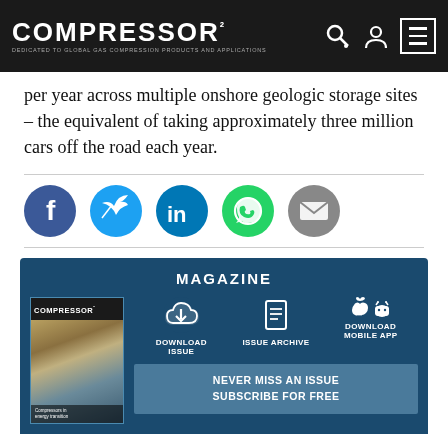COMPRESSOR TECH² — DEDICATED TO GLOBAL GAS COMPRESSION PRODUCTS AND APPLICATIONS
per year across multiple onshore geologic storage sites – the equivalent of taking approximately three million cars off the road each year.
[Figure (infographic): Social sharing icons row: Facebook (blue circle), Twitter (light blue circle), LinkedIn (dark blue circle), WhatsApp (green circle), Email (grey circle)]
[Figure (infographic): Magazine section on dark blue background with MAGAZINE heading, magazine cover image on left, and three action buttons: DOWNLOAD ISSUE, ISSUE ARCHIVE, DOWNLOAD MOBILE APP, and a NEVER MISS AN ISSUE / SUBSCRIBE FOR FREE banner]